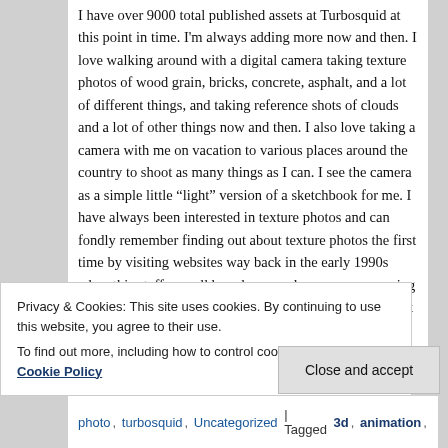I have over 9000 total published assets at Turbosquid at this point in time. I'm always adding more now and then. I love walking around with a digital camera taking texture photos of wood grain, bricks, concrete, asphalt, and a lot of different things, and taking reference shots of clouds and a lot of other things now and then. I also love taking a camera with me on vacation to various places around the country to shoot as many things as I can. I see the camera as a simple little “light” version of a sketchbook for me. I have always been interested in texture photos and can fondly remember finding out about texture photos the first time by visiting websites way back in the early 1990s when this stuff was all brand new and everyone was using early versions of photoshop that could not do much. Most of my photos on turbosquid are taken directly out of a
Privacy & Cookies: This site uses cookies. By continuing to use this website, you agree to their use.
To find out more, including how to control cookies, see here: Cookie Policy
Close and accept
photo, turbosquid, Uncategorized | Tagged 3d, animation,